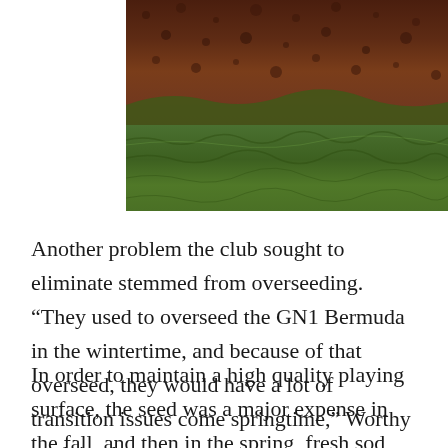[Figure (photo): Close-up photograph of grass and dark brown mulch or soil at the top, with green turf grass below, showing a transition zone between the two surfaces.]
Another problem the club sought to eliminate stemmed from overseeding. “They used to overseed the GN1 Bermuda in the wintertime, and because of that overseed, they would have a lot of transition issues come springtime,” Worthy explained.
In order to maintain a high quality playing surface, the seed was a major expense in the fall, and then in the spring, fresh sod had to be brought in for repairs, following the transition from the ryegrass back to